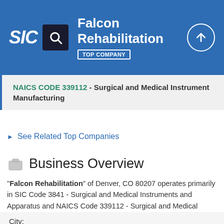Falcon Rehabilitation - TOP COMPANY
NAICS CODE 339112 - Surgical and Medical Instrument Manufacturing
See Related Top Companies
Business Overview
"Falcon Rehabilitation" of Denver, CO 80207 operates primarily in SIC Code 3841 - Surgical and Medical Instruments and Apparatus and NAICS Code 339112 - Surgical and Medical Instrument Manufacturing. Falcon Rehabilitation is a small-sized business with low revenue, that is well-established in its industry.
City: